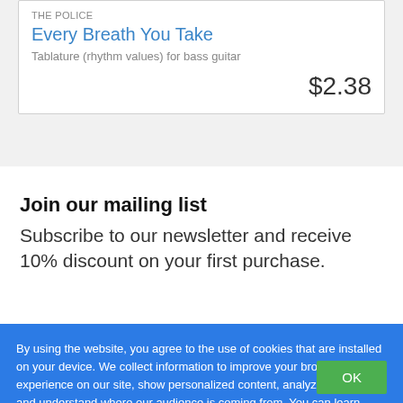THE POLICE
Every Breath You Take
Tablature (rhythm values) for bass guitar
$2.38
Join our mailing list
Subscribe to our newsletter and receive 10% discount on your first purchase.
By using the website, you agree to the use of cookies that are installed on your device. We collect information to improve your browsing experience on our site, show personalized content, analyze site traffic, and understand where our audience is coming from. You can learn more about this and how to change your browser settings by browsing our Cookie Policy and Privacy Policy.